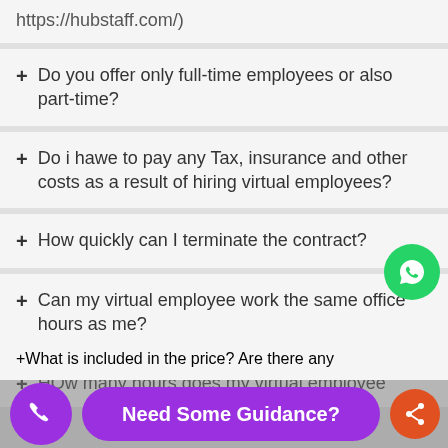https://hubstaff.com/)
+ Do you offer only full-time employees or also part-time?
+ Do i hawe to pay any Tax, insurance and other costs as a result of hiring virtual employees?
+ How quickly can I terminate the contract?
+ Can my virtual employee work the same office hours as me?
+ HOw many hours does my virtual employee
+ What is included in the price? Are there any
Need Some Guidance?